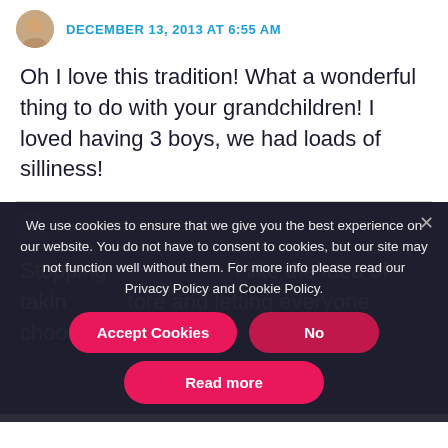DECEMBER 13, 2013 AT 6:55 AM
Oh I love this tradition! What a wonderful thing to do with your grandchildren! I loved having 3 boys, we had loads of silliness!
We use cookies to ensure that we give you the best experience on our website. You do not have to consent to cookies, but our site may not function well without them. For more info please read our Privacy Policy and Cookie Policy.
Accept Cookies
No
Read more
Stopping... like the idea of taking ... store and letting everyone choose a decoration.